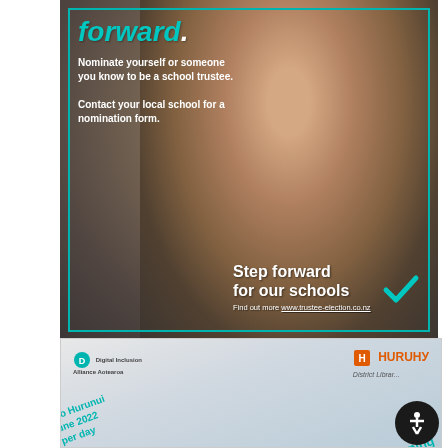[Figure (photo): Advertisement for school trustee elections. Shows a smiling man of Pacific/Māori appearance with arms crossed, wearing a grey t-shirt, against a grey background with teal border frame. Top-left text reads 'Step forward.' (teal/white). Body text: 'Nominate yourself or someone you know to be a school trustee. Contact your local school for a nomination form.' Bottom-right text: 'Step forward for our schools' with a teal checkmark logo and URL www.trustee-election.co.nz]
[Figure (photo): Advertisement banner for Hurunui District Library Digital Learning event. Features Digital Inclusion Alliance Aotearoa logo on left, diagonal teal text (partially visible) reading '...ing to Hurunui ...7 June 2022 ...ces per day', 'Digital Learning' text in teal, and Hurunui District Library logo on upper right in orange/grey. Black circular accessibility button visible bottom right.]